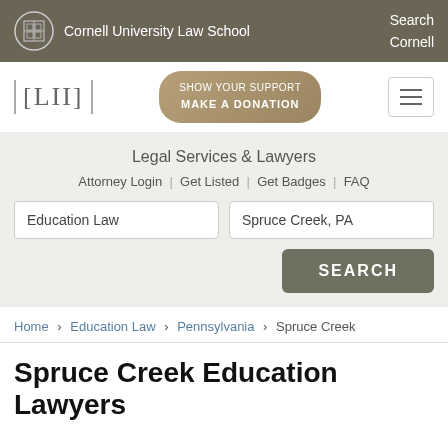Cornell University Law School | Search Cornell
[Figure (logo): LII logo and SHOW YOUR SUPPORT / MAKE A DONATION button, hamburger menu]
Legal Services & Lawyers
Attorney Login | Get Listed | Get Badges | FAQ
Education Law [search field] | Spruce Creek, PA [search field] | SEARCH button
Home › Education Law › Pennsylvania › Spruce Creek
Spruce Creek Education Lawyers